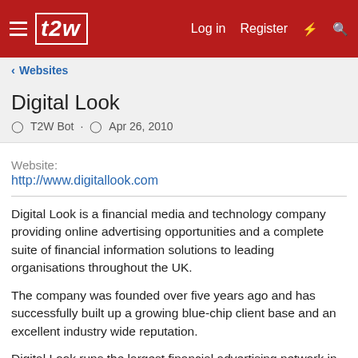t2w | Log in | Register
Websites
Digital Look
T2W Bot · Apr 26, 2010
Website:
http://www.digitallook.com
Digital Look is a financial media and technology company providing online advertising opportunities and a complete suite of financial information solutions to leading organisations throughout the UK.
The company was founded over five years ago and has successfully built up a growing blue-chip client base and an excellent industry wide reputation.
Digital Look runs the largest financial advertising network in the UK. and has two key business areas:
Advertising Solutions : Provide a full range of advertising